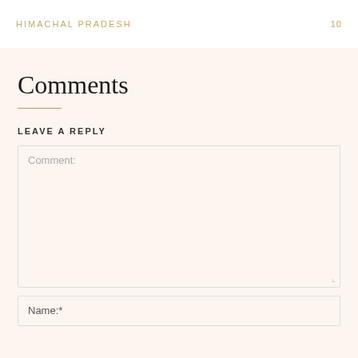HIMACHAL PRADESH  10
Comments
LEAVE A REPLY
Comment:
Name:*